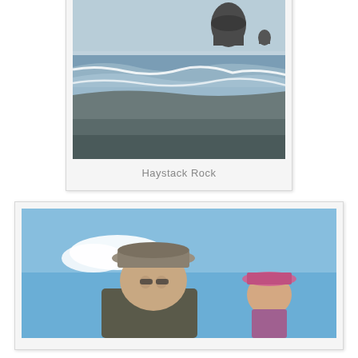[Figure (photo): Polaroid-style photo of a beach scene with Haystack Rock visible in the background, ocean waves washing onto a dark sandy shore]
Haystack Rock
[Figure (photo): Polaroid-style photo of a person wearing a bucket hat standing on a beach with blue sky and another person or object visible in the background]